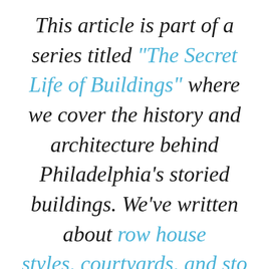This article is part of a series titled “The Secret Life of Buildings” where we cover the history and architecture behind Philadelphia’s storied buildings. We’ve written about row house styles, courtyards, and sto…